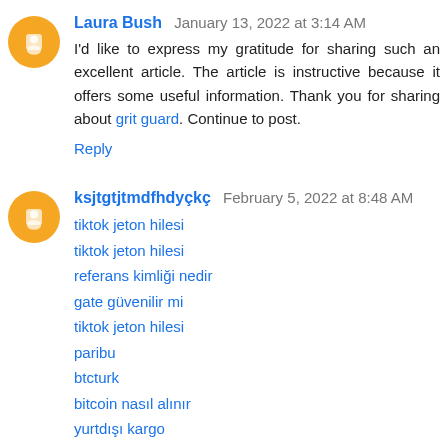Laura Bush  January 13, 2022 at 3:14 AM
I'd like to express my gratitude for sharing such an excellent article. The article is instructive because it offers some useful information. Thank you for sharing about grit guard. Continue to post.
Reply
ksjtgtjtmdfhdyçkç  February 5, 2022 at 8:48 AM
tiktok jeton hilesi
tiktok jeton hilesi
referans kimliği nedir
gate güvenilir mi
tiktok jeton hilesi
paribu
btcturk
bitcoin nasıl alınır
yurtdışı kargo